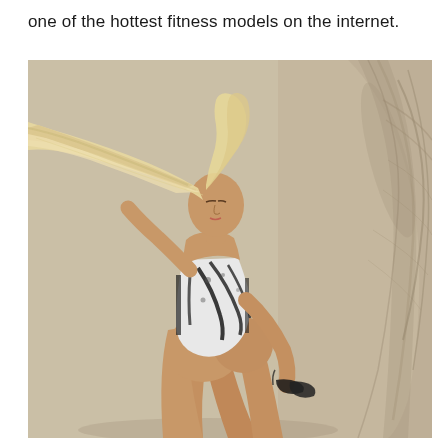one of the hottest fitness models on the internet.
[Figure (photo): A blonde woman in a white and black patterned strapless swimsuit posing dynamically with her hair flowing, holding sunglasses, against a beige background with a palm shadow.]